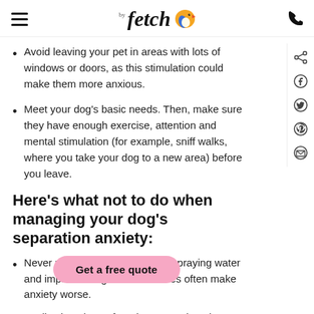fetch by (logo with bird icon) | phone icon
Avoid leaving your pet in areas with lots of windows or doors, as this stimulation could make them more anxious.
Meet your dog's basic needs. Then, make sure they have enough exercise, attention and mental stimulation (for example, sniff walks, where you take your dog to a new area) before you leave.
Here's what not to do when managing your dog's separation anxiety:
Never punish your dog. Yelling, spraying water and implementing other aversives often make anxiety worse.
Medication alone often doesn't work. Ask your
Get a free quote